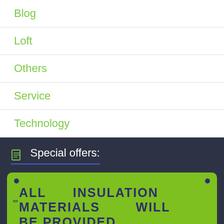Blog
Loft
Others
Service
Technology
Special offers:
[Figure (other): Green promotional banner with bold dark blue text reading 'ALL INSULATION MATERIALS WILL BE PROVIDED' and large pink/magenta text 'FREE' followed by dark blue 'OF CHARGE,' on a lime green background with rounded corners and dark dots in corners.]